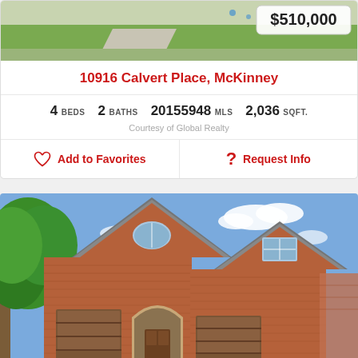[Figure (photo): Top portion of house exterior photo showing green lawn and driveway with price badge $510,000]
10916 Calvert Place, McKinney
4 BEDS  2 BATHS  20155948 MLS  2,036 SQFT.
Courtesy of Global Realty
Add to Favorites   Request Info
[Figure (photo): Front exterior photo of two-story brick house with arched garage doors, pointed roofline gables, and large tree on left side]